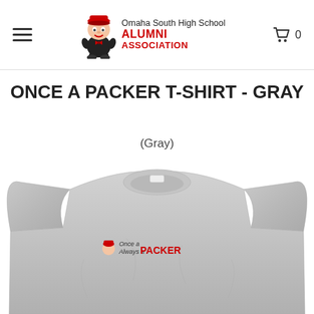Omaha South High School Alumni Association — hamburger menu, cart (0)
ONCE A PACKER T-SHIRT - GRAY
(Gray)
[Figure (photo): Gray t-shirt with 'Once a Always a PACKER' text and mascot logo on chest]